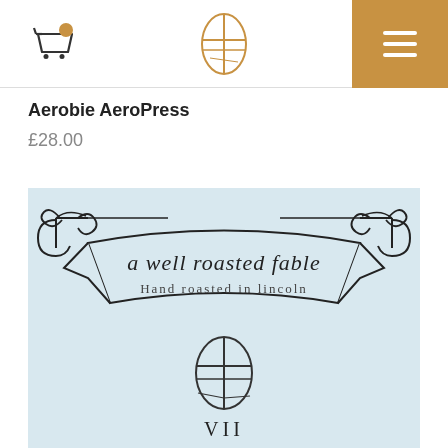Navigation header with cart icon, oval logo, and hamburger menu
Aerobie AeroPress
£28.00
[Figure (logo): A Well Roasted Fable brand image on light blue background. Ornate banner reading 'a well roasted fable' and 'Hand roasted in lincoln' with decorative scroll flourishes at corners. Below the banner is an oval coffee bean logo with 'VII' beneath it.]